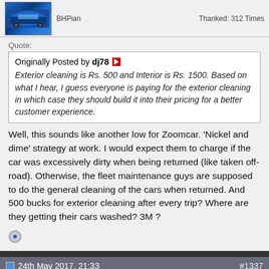[Figure (photo): Avatar image of a blue sports car]
BHPian
Thanked: 312 Times
Quote:
Originally Posted by dj78
Exterior cleaning is Rs. 500 and Interior is Rs. 1500. Based on what I hear, I guess everyone is paying for the exterior cleaning in which case they should build it into their pricing for a better customer experience.
Well, this sounds like another low for Zoomcar. 'Nickel and dime' strategy at work. I would expect them to charge if the car was excessively dirty when being returned (like taken off-road). Otherwise, the fleet maintenance guys are supposed to do the general cleaning of the cars when returned. And 500 bucks for exterior cleaning after every trip? Where are they getting their cars washed? 3M ?
24th May 2017, 21:33
#1337
[Figure (illustration): Avatar of vinit.merchant showing a cartoon illustration]
vinit.merchant
Senior - BHPian
Location: Pune
Posts: 1,223
Thanked: 1,194 Times